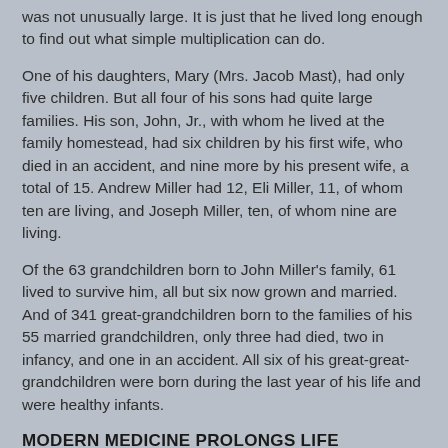was not unusually large. It is just that he lived long enough to find out what simple multiplication can do.
One of his daughters, Mary (Mrs. Jacob Mast), had only five children. But all four of his sons had quite large families. His son, John, Jr., with whom he lived at the family homestead, had six children by his first wife, who died in an accident, and nine more by his present wife, a total of 15. Andrew Miller had 12, Eli Miller, 11, of whom ten are living, and Joseph Miller, ten, of whom nine are living.
Of the 63 grandchildren born to John Miller's family, 61 lived to survive him, all but six now grown and married. And of 341 great-grandchildren born to the families of his 55 married grandchildren, only three had died, two in infancy, and one in an accident. All six of his great-great-grandchildren were born during the last year of his life and were healthy infants.
MODERN MEDICINE PROLONGS LIFE
Thus, a major factor in the world-wide population crisis was vividly evident in John Miller's family: the fact that nearly all children born in the 20th century, who enjoy the benefits of